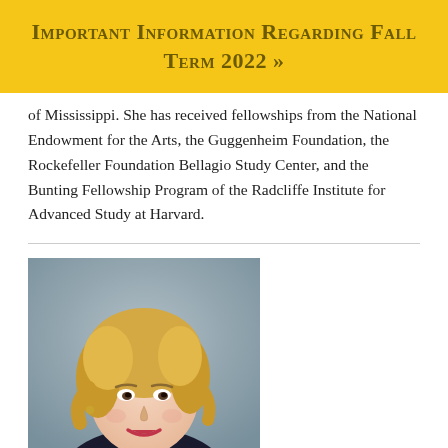Important Information Regarding Fall Term 2022 »
of Mississippi. She has received fellowships from the National Endowment for the Arts, the Guggenheim Foundation, the Rockefeller Foundation Bellagio Study Center, and the Bunting Fellowship Program of the Radcliffe Institute for Advanced Study at Harvard.
[Figure (photo): Headshot portrait of a middle-aged woman with blonde hair, smiling, wearing a patterned top, against a grey background.]